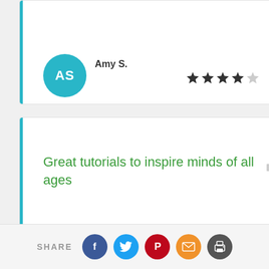Amy S.
[Figure (other): Star rating: 4 out of 5 stars]
Great tutorials to inspire minds of all ages
[Figure (other): Thumbs up icon with count 0]
SHARE — social share icons: Facebook, Twitter, Pinterest, Email, Print